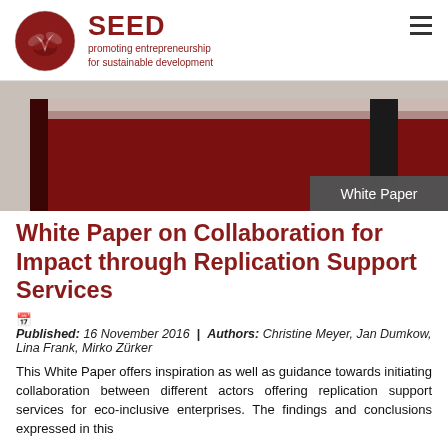SEED promoting entrepreneurship for sustainable development
[Figure (photo): Dark red/maroon banner image with leather-like texture and a black vertical stripe on the right side, with a 'White Paper' badge overlay in the bottom right corner]
White Paper on Collaboration for Impact through Replication Support Services
Published: 16 November 2016 | Authors: Christine Meyer, Jan Dumkow, Lina Frank, Mirko Zürker
This White Paper offers inspiration as well as guidance towards initiating collaboration between different actors offering replication support services for eco-inclusive enterprises. The findings and conclusions expressed in this